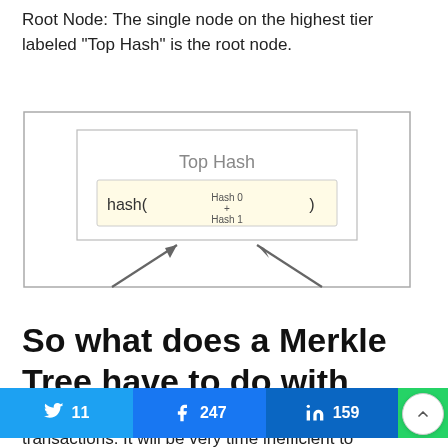Root Node: The single node on the highest tier labeled “Top Hash” is the root node.
[Figure (schematic): Diagram of a Merkle Tree root node box containing 'Top Hash' label and a hash formula box showing hash( Hash 0 + Hash 1 ), with two arrows pointing up into the box from below.]
So what does a Merkle Tree have to do with blockchains?
Each block contains thousands and thousands of transactions. It will be very time inefficient to